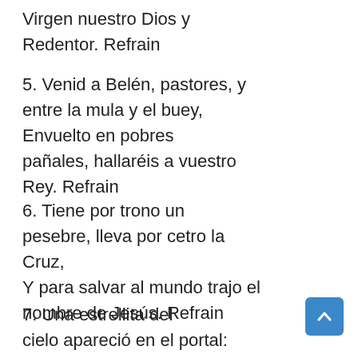Virgen nuestro Dios y Redentor. Refrain
5. Venid a Belén, pastores, y entre la mula y el buey, Envuelto en pobres pañales, hallaréis a vuestro Rey. Refrain
6. Tiene por trono un pesebre, lleva por cetro la Cruz, Y para salvar al mundo trajo el nombre de Jesús. Refrain
7. Una estrellita del cielo apareció en el portal: Es el Niño Dios que viene a